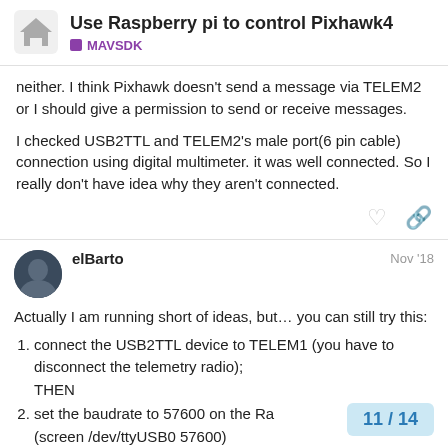Use Raspberry pi to control Pixhawk4 — MAVSDK
neither. I think Pixhawk doesn't send a message via TELEM2 or I should give a permission to send or receive messages.
I checked USB2TTL and TELEM2's male port(6 pin cable) connection using digital multimeter. it was well connected. So I really don't have idea why they aren't connected.
elBarto — Nov '18
Actually I am running short of ideas, but… you can still try this:
connect the USB2TTL device to TELEM1 (you have to disconnect the telemetry radio); THEN
set the baudrate to 57600 on the Ras (screen /dev/ttyUSB0 57600)